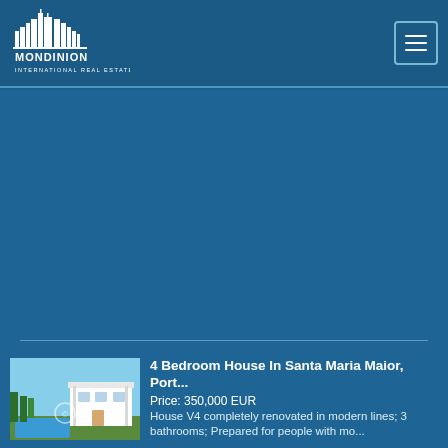[Figure (logo): Mondinion International Real Estate logo — city skyline silhouette above text MONDINION INTERNATIONAL REAL ESTATE in white on blue background]
[Figure (illustration): Hamburger menu icon (three horizontal lines) inside a bordered square button, top-right of header]
[Figure (photo): Large blue placeholder area representing a property hero image]
[Figure (photo): Thumbnail photo of a 4-bedroom house with pool and modern white exterior in Santa Maria Maior, Portugal]
4 Bedroom House In Santa Maria Maior, Port...
Price: 350,000 EUR
House V4 completely renovated in modern lines; 3 bathrooms; Prepared for people with mo...